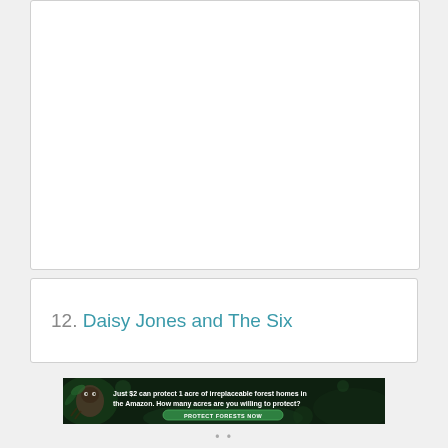[Figure (other): Upper white content box, empty/blank area representing a previous list entry or content panel]
12. Daisy Jones and The Six
[Figure (infographic): Advertisement banner: forest/Amazon conservation ad with sloth image. Text reads: 'Just $2 can protect 1 acre of irreplaceable forest homes in the Amazon. How many acres are you willing to protect?' with a green 'PROTECT FORESTS NOW' button.]